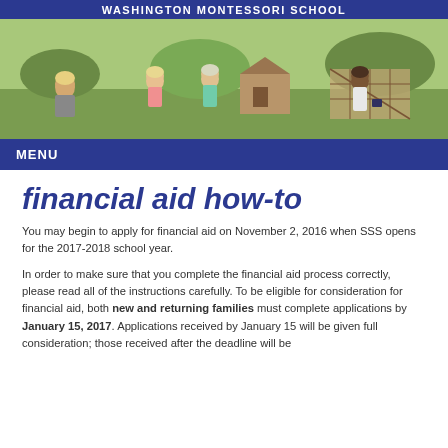WASHINGTON MONTESSORI SCHOOL
[Figure (photo): Children playing outdoors on a playground with a wooden structure and grass in the background]
MENU
financial aid how-to
You may begin to apply for financial aid on November 2, 2016 when SSS opens for the 2017-2018 school year.
In order to make sure that you complete the financial aid process correctly, please read all of the instructions carefully. To be eligible for consideration for financial aid, both new and returning families must complete applications by January 15, 2017. Applications received by January 15 will be given full consideration; those received after the deadline will be